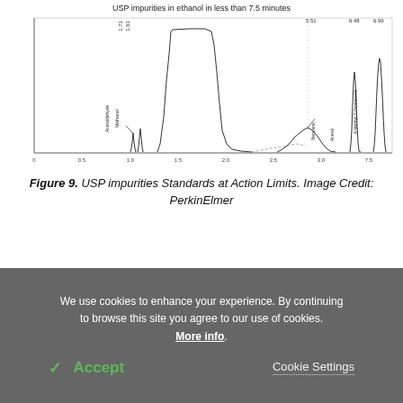[Figure (continuous-plot): Chromatogram showing USP impurities in ethanol in less than 7.5 minutes. Peaks labeled: Acetaldehyde (1.71), Methanol (1.61), Benzene (~5.51), Acetate (~6.48), 4-Methyl-2-Pentanone (6.99). Large solvent peak near 2 min.]
Figure 9. USP impurities Standards at Action Limits. Image Credit: PerkinElmer
[Figure (continuous-plot): Chromatogram showing Ethanol_A Combined standard Repeatability and RSD. Shows a large peak and baseline chromatographic trace.]
We use cookies to enhance your experience. By continuing to browse this site you agree to our use of cookies. More info.
✓ Accept   Cookie Settings